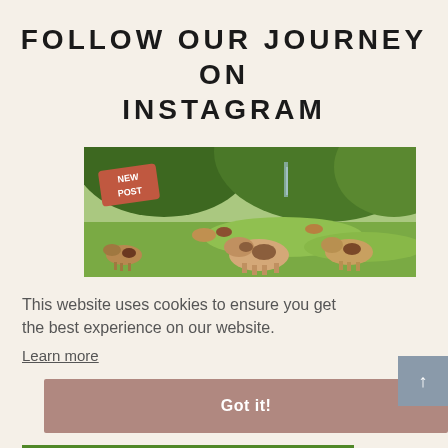FOLLOW OUR JOURNEY ON INSTAGRAM
[Figure (photo): Cows grazing on a lush green alpine meadow with mountains in the background. A red 'New Post' badge/sticker is in the upper left corner.]
This website uses cookies to ensure you get the best experience on our website.
Learn more
Got it!
[Figure (photo): Partial bottom image showing green field with white text beginning 'Spastaenstein and']